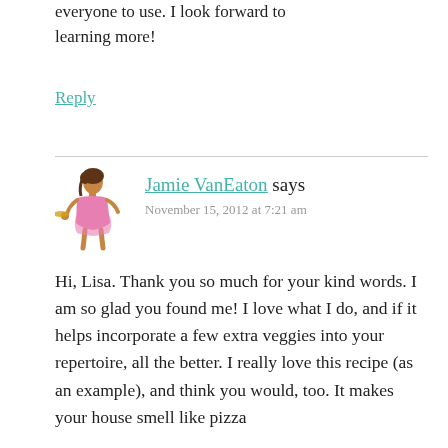everyone to use. I look forward to learning more!
Reply
Jamie VanEaton says
November 15, 2012 at 7:21 am
Hi, Lisa. Thank you so much for your kind words. I am so glad you found me! I love what I do, and if it helps incorporate a few extra veggies into your repertoire, all the better. I really love this recipe (as an example), and think you would, too. It makes your house smell like pizza